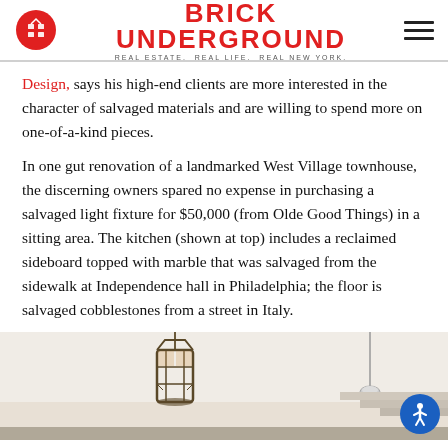BRICK UNDERGROUND — REAL ESTATE. REAL LIFE. REAL NEW YORK.
Design, says his high-end clients are more interested in the character of salvaged materials and are willing to spend more on one-of-a-kind pieces.
In one gut renovation of a landmarked West Village townhouse, the discerning owners spared no expense in purchasing a salvaged light fixture for $50,000 (from Olde Good Things) in a sitting area. The kitchen (shown at top) includes a reclaimed sideboard topped with marble that was salvaged from the sidewalk at Independence hall in Philadelphia; the floor is salvaged cobblestones from a street in Italy.
[Figure (photo): Interior photo showing a hanging lantern-style light fixture and a pendant light in what appears to be a renovated townhouse space.]